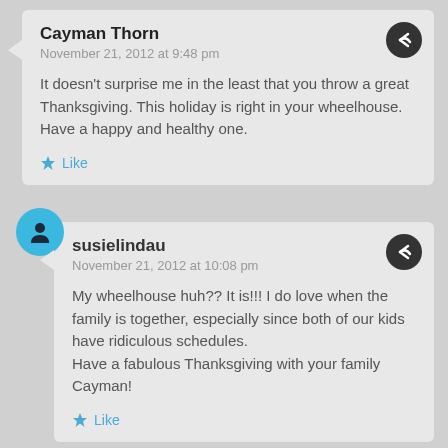Cayman Thorn
November 21, 2012 at 9:48 pm
It doesn’t surprise me in the least that you throw a great Thanksgiving. This holiday is right in your wheelhouse. Have a happy and healthy one.
Like
susielindau
November 21, 2012 at 10:08 pm
My wheelhouse huh?? It is!!! I do love when the family is together, especially since both of our kids have ridiculous schedules.
Have a fabulous Thanksgiving with your family Cayman!
Like